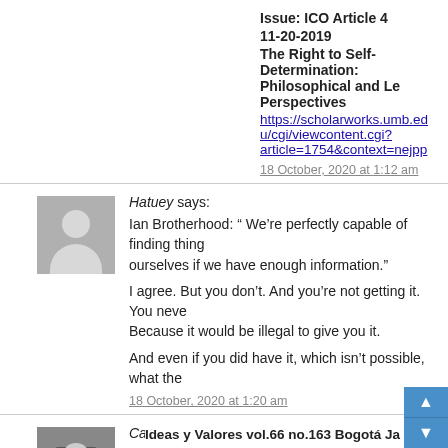Issue: ICO Article 4
11-20-2019
The Right to Self-Determination: Philosophical and Legal Perspectives
https://scholarworks.umb.edu/cgi/viewcontent.cgi?article=1754&context=nejpp
18 October, 2020 at 1:12 am
Hatuey says:
Ian Brotherhood: “ We’re perfectly capable of finding things out ourselves if we have enough information.”

I agree. But you don’t. And you’re not getting it. You never will. Because it would be illegal to give you it.

And even if you did have it, which isn’t possible, what the
18 October, 2020 at 1:20 am
CameronB Brodie says:
Sir Start-up is simply a narrow English/British nationalist a... no ally of Scots.
Ideas y Valores vol.66 no.163 Bogotá Ja